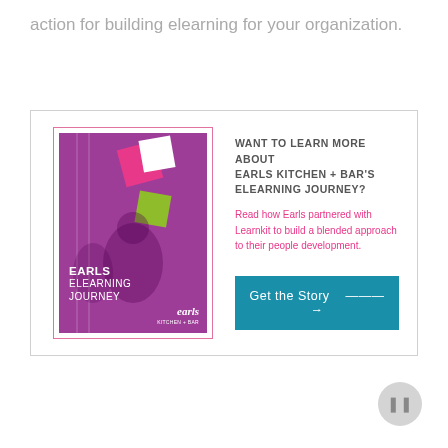action for building elearning for your organization.
[Figure (illustration): Promotional card for Earls Kitchen + Bar's Elearning Journey case study. Left side shows a book cover with purple background, colored geometric shapes, and text 'EARLS ELEARNING JOURNEY'. Right side has heading 'WANT TO LEARN MORE ABOUT EARLS KITCHEN + BAR'S ELEARNING JOURNEY?' in dark gray, pink text 'Read how Earls partnered with Learnkit to build a blended approach to their people development.' and a teal 'Get the Story' button with an arrow.]